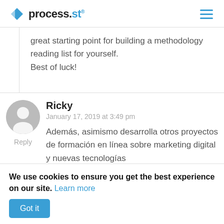process.st
great starting point for building a methodology reading list for yourself.

Best of luck!
Ricky
January 17, 2019 at 3:49 pm
Además, asimismo desarrolla otros proyectos de formación en línea sobre marketing digital y nuevas tecnologías
We use cookies to ensure you get the best experience on our site. Learn more